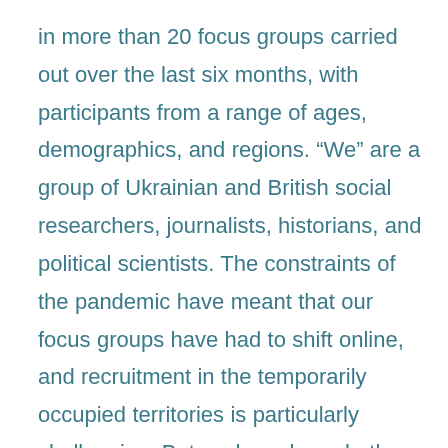in more than 20 focus groups carried out over the last six months, with participants from a range of ages, demographics, and regions. “We” are a group of Ukrainian and British social researchers, journalists, historians, and political scientists. The constraints of the pandemic have meant that our focus groups have had to shift online, and recruitment in the temporarily occupied territories is particularly challenging. But we have been both surprised and inspired by what we have learnt, with clear patterns in people’s attitudes emerging alongside viable means of strengthening Ukraine’s resilience, democracy, and cohesion.

Four of these focus groups involved participants in the temporarily occupied territories. This requires